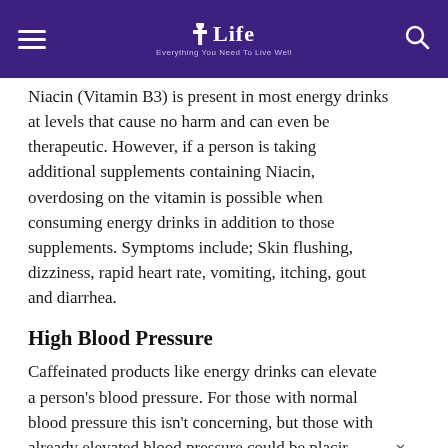Life — Everything You Need To Live Well
Niacin (Vitamin B3) is present in most energy drinks at levels that cause no harm and can even be therapeutic. However, if a person is taking additional supplements containing Niacin, overdosing on the vitamin is possible when consuming energy drinks in addition to those supplements. Symptoms include; Skin flushing, dizziness, rapid heart rate, vomiting, itching, gout and diarrhea.
High Blood Pressure
Caffeinated products like energy drinks can elevate a person's blood pressure. For those with normal blood pressure this isn't concerning, but those with already elevated blood pressure could be placir